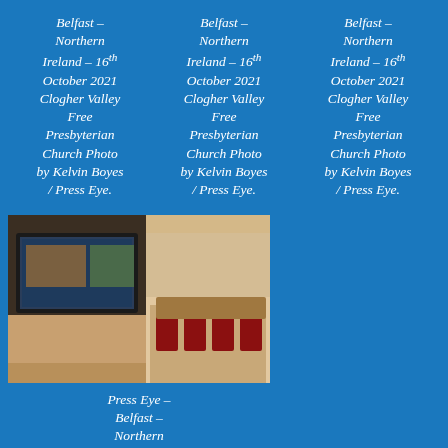Press Eye – Belfast – Northern Ireland – 16th October 2021 Clogher Valley Free Presbyterian Church Photo by Kelvin Boyes / Press Eye.
Press Eye – Belfast – Northern Ireland – 16th October 2021 Clogher Valley Free Presbyterian Church Photo by Kelvin Boyes / Press Eye.
Press Eye – Belfast – Northern Ireland – 16th October 2021 Clogher Valley Free Presbyterian Church Photo by Kelvin Boyes / Press Eye.
[Figure (photo): Interior photo of a church hall with a TV screen on the wall and red chairs in the background]
Press Eye – Belfast – Northern Ireland – 16th October 2021 Clogher Valley Free Presbyterian Church Photo by Kelvin Boyes / Press Eye.